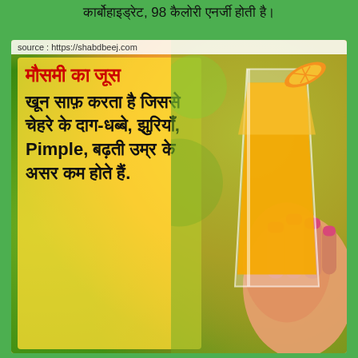कार्बोहाइड्रेट, 98 कैलोरी एनर्जी होती है।
source : https://shabdbeej.com
[Figure (photo): A hand holding a glass of fresh orange juice with an orange slice on the rim, with blurred green background. Overlaid text in Hindi and English about mosambi (sweet lime) juice benefits.]
मौसमी का जूस खून साफ़ करता है जिससे चेहरे के दाग-धब्बे, झुरियाँ, Pimple, बढ़ती उम्र के असर कम होते हैं.